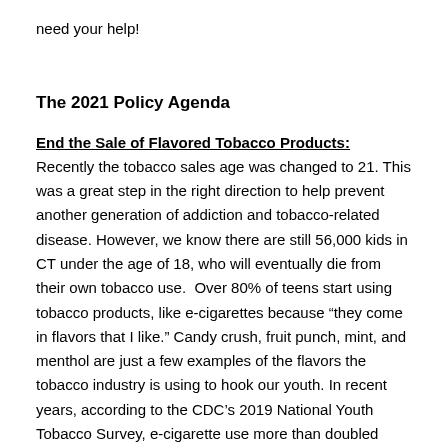need your help!
The 2021 Policy Agenda
End the Sale of Flavored Tobacco Products: Recently the tobacco sales age was changed to 21. This was a great step in the right direction to help prevent another generation of addiction and tobacco-related disease. However, we know there are still 56,000 kids in CT under the age of 18, who will eventually die from their own tobacco use. Over 80% of teens start using tobacco products, like e-cigarettes because “they come in flavors that I like.” Candy crush, fruit punch, mint, and menthol are just a few examples of the flavors the tobacco industry is using to hook our youth. In recent years, according to the CDC’s 2019 National Youth Tobacco Survey, e-cigarette use more than doubled among high school students and tripled among middle